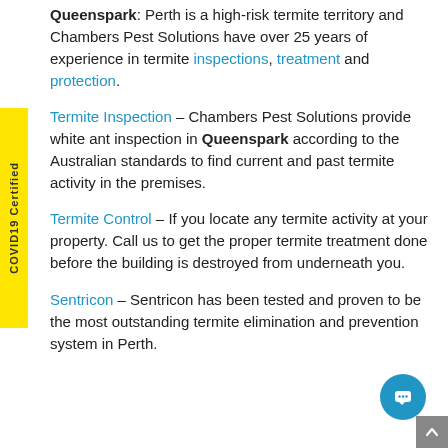Queenspark: Perth is a high-risk termite territory and Chambers Pest Solutions have over 25 years of experience in termite inspections, treatment and protection.
Termite Inspection – Chambers Pest Solutions provide white ant inspection in Queenspark according to the Australian standards to find current and past termite activity in the premises.
Termite Control – If you locate any termite activity at your property. Call us to get the proper termite treatment done before the building is destroyed from underneath you.
Sentricon – Sentricon has been tested and proven to be the most outstanding termite elimination and prevention system in Perth.